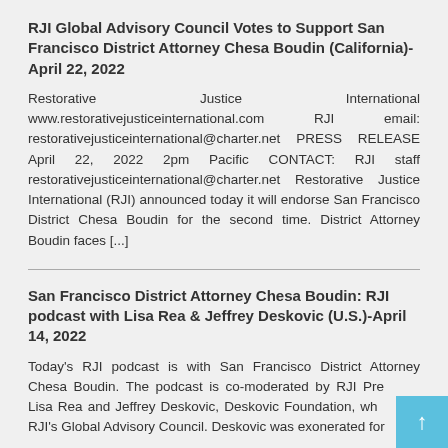RJI Global Advisory Council Votes to Support San Francisco District Attorney Chesa Boudin (California)-April 22, 2022
Restorative Justice International www.restorativejusticeinternational.com RJI email: restorativejusticeinternational@charter.net PRESS RELEASE April 22, 2022 2pm Pacific CONTACT: RJI staff restorativejusticeinternational@charter.net Restorative Justice International (RJI) announced today it will endorse San Francisco District Chesa Boudin for the second time. District Attorney Boudin faces [...]
San Francisco District Attorney Chesa Boudin: RJI podcast with Lisa Rea & Jeffrey Deskovic (U.S.)-April 14, 2022
Today's RJI podcast is with San Francisco District Attorney Chesa Boudin. The podcast is co-moderated by RJI President Lisa Rea and Jeffrey Deskovic, Deskovic Foundation, who is on RJI's Global Advisory Council. Deskovic was exonerated for